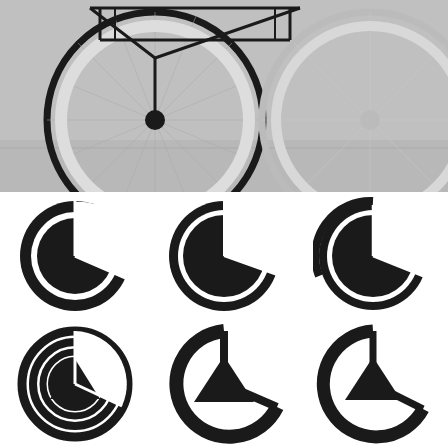[Figure (photo): A bicycle wheel with geometric triangle/frame overlay lines, photographed on a light grey background. Two wheels visible, the left wheel prominent with black geometric line art overlaid.]
[Figure (logo): Six logo variations of a circular bicycle wheel motif combined with a pie-chart-like slice shape. Top row: three filled black circle logos with double-ring outer edge and pie slice cutout. Bottom row: three variations with open/concentric ring style and triangular slice cutout. Each logo is a stylized wheel/pie hybrid icon in black.]